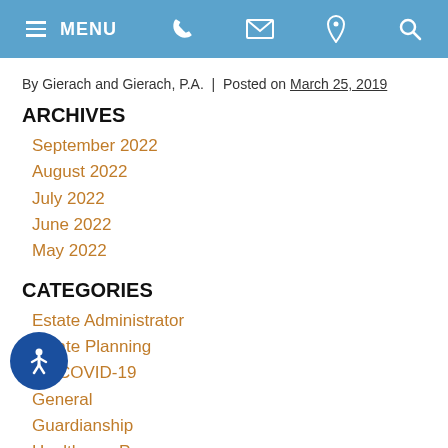MENU [phone] [email] [location] [search]
By Gierach and Gierach, P.A. | Posted on March 25, 2019
ARCHIVES
September 2022
August 2022
July 2022
June 2022
May 2022
CATEGORIES
Estate Administrator
Estate Planning
COVID-19
General
Guardianship
Healthcare Proxy
orlando estate planning attorneys
Orlando Estate Planning Lawyer
Power Of Attorney